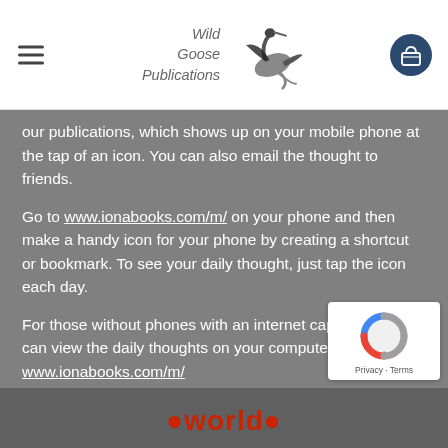Wild Goose Publications [logo with bird]
our publications, which shows up on your mobile phone at the tap of an icon. You can also email the thought to friends.
Go to www.ionabooks.com/m/ on your phone and then make a handy icon for your phone by creating a shortcut or bookmark. To see your daily thought, just tap the icon each day.
For those without phones with an internet capability, you can view the daily thoughts on your computer by going to www.ionabooks.com/m/
[Figure (logo): Google reCAPTCHA badge with circular arrow logo, Privacy - Terms text]
world